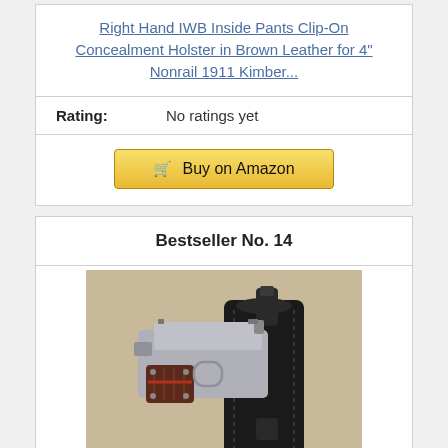Right Hand IWB Inside Pants Clip-On Concealment Holster in Brown Leather for 4" Nonrail 1911 Kimber...
Rating: No ratings yet
Buy on Amazon
Bestseller No. 14
[Figure (photo): Photo of a black IWB (inside waistband) holster with a silver and wood-grip 1911 pistol inserted into it, on a beige/tan background.]